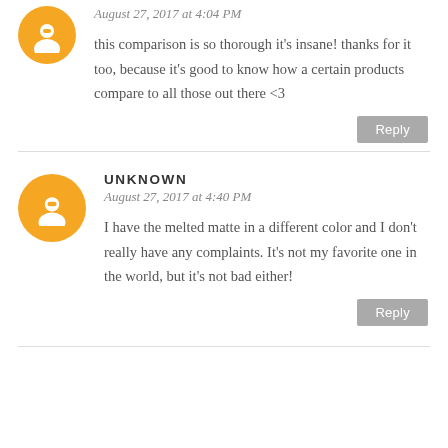August 27, 2017 at 4:04 PM
this comparison is so thorough it's insane! thanks for it too, because it's good to know how a certain products compare to all those out there <3
Reply
UNKNOWN
August 27, 2017 at 4:40 PM
I have the melted matte in a different color and I don't really have any complaints. It's not my favorite one in the world, but it's not bad either!
Reply